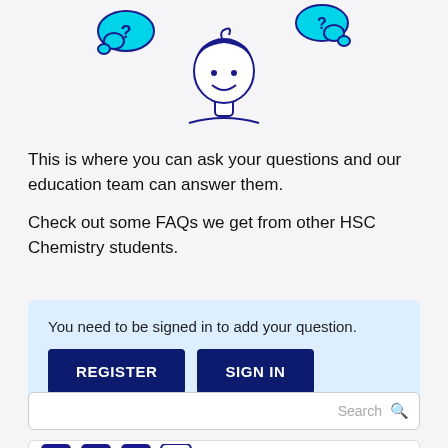[Figure (illustration): Cartoon illustration of a person's head with thought/question cloud bubbles on either side, drawn in dark blue outline style on light background]
This is where you can ask your questions and our education team can answer them.
Check out some FAQs we get from other HSC Chemistry students.
You need to be signed in to add your question.
REGISTER
SIGN IN
Search
[Figure (illustration): Social media icons row: Facebook, Twitter, LinkedIn, Email/envelope]